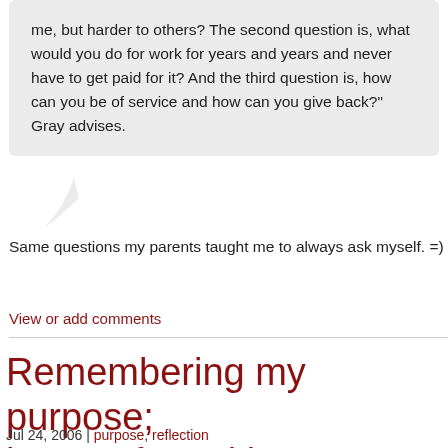me, but harder to others? The second question is, what would you do for work for years and years and never have to get paid for it? And the third question is, how can you be of service and how can you give back?" Gray advises.
Same questions my parents taught me to always ask myself. =)
View or add comments
Remembering my purpose; hooray for writing!
Jul 24, 2006 | purpose, reflection